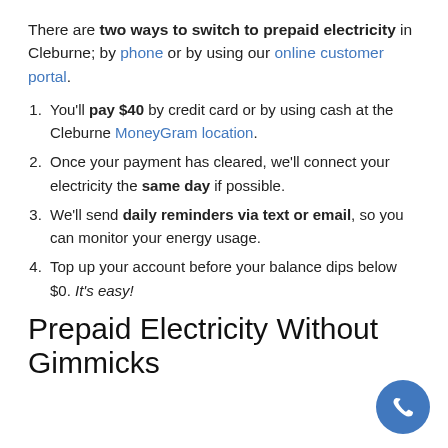There are two ways to switch to prepaid electricity in Cleburne; by phone or by using our online customer portal.
You'll pay $40 by credit card or by using cash at the Cleburne MoneyGram location.
Once your payment has cleared, we'll connect your electricity the same day if possible.
We'll send daily reminders via text or email, so you can monitor your energy usage.
Top up your account before your balance dips below $0. It's easy!
Prepaid Electricity Without Gimmicks
[Figure (other): Blue circular phone call button icon in bottom-right corner]